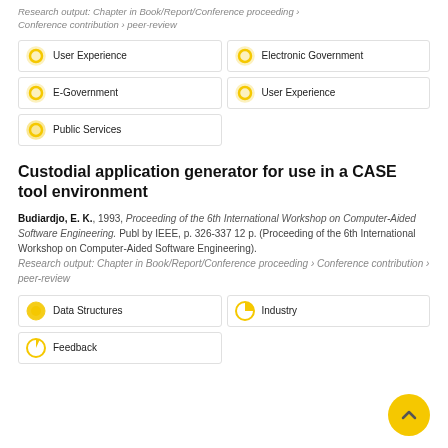Research output: Chapter in Book/Report/Conference proceeding › Conference contribution › peer-review
User Experience
Electronic Government
E-Government
User Experience
Public Services
Custodial application generator for use in a CASE tool environment
Budiardjo, E. K., 1993, Proceeding of the 6th International Workshop on Computer-Aided Software Engineering. Publ by IEEE, p. 326-337 12 p. (Proceeding of the 6th International Workshop on Computer-Aided Software Engineering). Research output: Chapter in Book/Report/Conference proceeding › Conference contribution › peer-review
Data Structures
Industry
Feedback